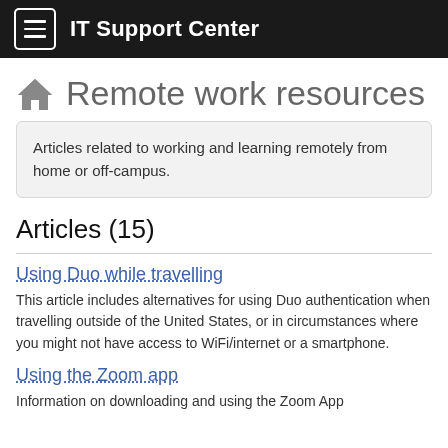IT Support Center
Remote work resources
Articles related to working and learning remotely from home or off-campus.
Articles (15)
Using Duo while travelling
This article includes alternatives for using Duo authentication when travelling outside of the United States, or in circumstances where you might not have access to WiFi/internet or a smartphone.
Using the Zoom app
Information on downloading and using the Zoom App